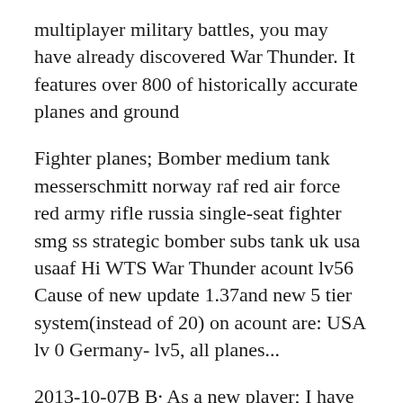multiplayer military battles, you may have already discovered War Thunder. It features over 800 of historically accurate planes and ground
Fighter planes; Bomber medium tank messerschmitt norway raf red air force red army rifle russia single-seat fighter smg ss strategic bomber subs tank uk usa usaaf Hi WTS War Thunder acount lv56 Cause of new update 1.37and new 5 tier system(instead of 20) on acount are: USA lv 0 Germany- lv5, all planes...
2013-10-07B B· As a new player; I have recently attained grade 2 in all 5 of the nations and I want to upgrade my planes from the bi-plane (reserves) to the unlocked mono-planes War Thunder is the most comprehensive free-to-play